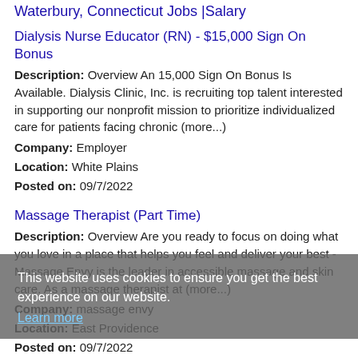Waterbury, Connecticut Jobs |Salary
Dialysis Nurse Educator (RN) - $15,000 Sign On Bonus
Description: Overview An 15,000 Sign On Bonus Is Available. Dialysis Clinic, Inc. is recruiting top talent interested in supporting our nonprofit mission to prioritize individualized care for patients facing chronic (more...)
Company: Employer
Location: White Plains
Posted on: 09/7/2022
Massage Therapist (Part Time)
Description: Overview Are you ready to focus on doing what you love in a place that helps you feel and deliver your best -Massage Envy is the leader in accessible massage and skin care. As a massage therapist at (more...)
Company: massage envy
Location: East Providence
Posted on: 09/7/2022
Cyber Defense Operations Specialist - 3rd Shift Sunday through Wednesday
Description: DescriptionThis 3rd shift opportunity in the Cyber Defense CD Security Operations Center SOC will perform security